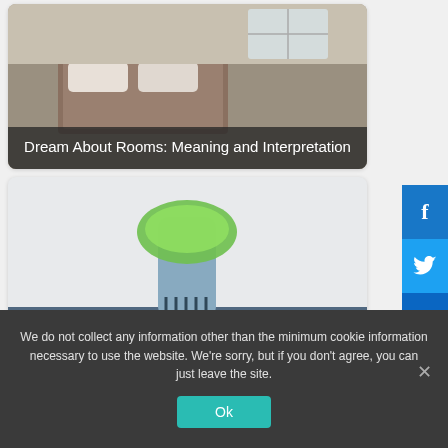[Figure (photo): Toothbrush close-up with green gel toothpaste on bristles, card styled article thumbnail]
Dream About Rooms: Meaning and Interpretation
[Figure (photo): Close-up of green toothpaste on toothbrush bristles]
Dream of Brushing Teeth: Meaning and Interpretation
[Figure (photo): Elderly person's hands clasped together, wearing plaid shirt]
We do not collect any information other than the minimum cookie information necessary to use the website. We're sorry, but if you don't agree, you can just leave the site.